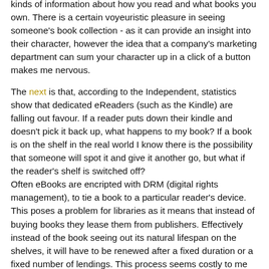kinds of information about how you read and what books you own. There is a certain voyeuristic pleasure in seeing someone's book collection - as it can provide an insight into their character, however the idea that a company's marketing department can sum your character up in a click of a button makes me nervous.
The next is that, according to the Independent, statistics show that dedicated eReaders (such as the Kindle) are falling out favour. If a reader puts down their kindle and doesn't pick it back up, what happens to my book? If a book is on the shelf in the real world I know there is the possibility that someone will spot it and give it another go, but what if the reader's shelf is switched off? Often eBooks are encripted with DRM (digital rights management), to tie a book to a particular reader's device. This poses a problem for libraries as it means that instead of buying books they lease them from publishers. Effectively instead of the book seeing out its natural lifespan on the shelves, it will have to be renewed after a fixed duration or a fixed number of lendings. This process seems costly to me and disingenuous. The article provides a fascinating insight